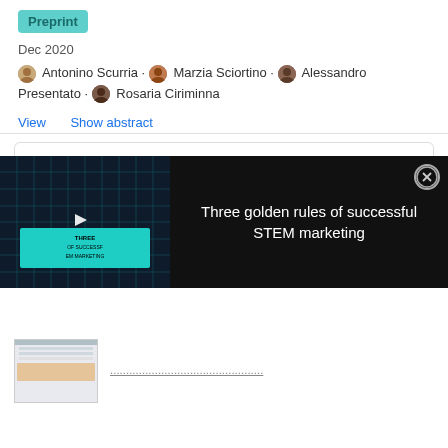Preprint
Dec 2020
Antonino Scurria · Marzia Sciortino · Alessandro Presentato · Rosaria Ciriminna
View   Show abstract
... In another study, the extraction efficiency of pomelo peel essential oil with supercritical CO 2 extraction
[Figure (screenshot): Video overlay with dark background showing text 'Three golden rules of successful STEM marketing' with a play button thumbnail on the left and a close (X) button on the top right.]
[Figure (screenshot): Thumbnail image preview at the bottom of the page with a small document thumbnail and partially visible URL text.]